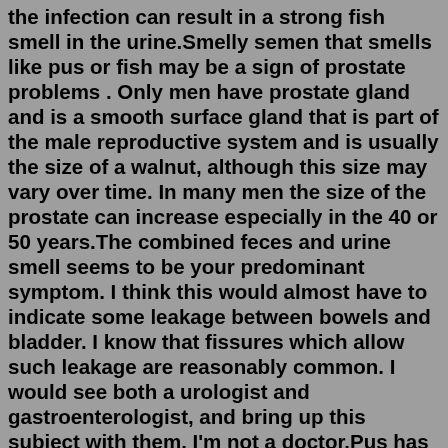the infection can result in a strong fish smell in the urine.Smelly semen that smells like pus or fish may be a sign of prostate problems . Only men have prostate gland and is a smooth surface gland that is part of the male reproductive system and is usually the size of a walnut, although this size may vary over time. In many men the size of the prostate can increase especially in the 40 or 50 years.The combined feces and urine smell seems to be your predominant symptom. I think this would almost have to indicate some leakage between bowels and bladder. I know that fissures which allow such leakage are reasonably common. I would see both a urologist and gastroenterologist, and bring up this subject with them. I'm not a doctor.Pus has a very unpleasant smell, as you will know if you have ever had a boil or an abscess. "Diabetes can also cause your urine to smell. Firstly, if you develop diabetic ketoacidosis (DKA), this ...8 Foods That Could Make Your Body Odor Worse. Experts explain how your diet might contribute to your stench. By Nina Bahadur. Feb 7,